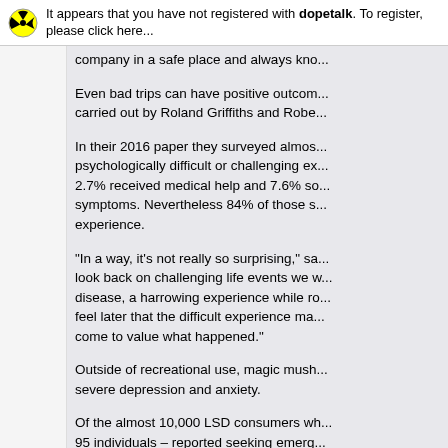It appears that you have not registered with dopetalk. To register, please click here...
company in a safe place and always kno...
Even bad trips can have positive outcom... carried out by Roland Griffiths and Robe...
In their 2016 paper they surveyed almos... psychologically difficult or challenging ex... 2.7% received medical help and 7.6% so... symptoms. Nevertheless 84% of those s... experience.
“In a way, it’s not really so surprising,” sa... look back on challenging life events we w... disease, a harrowing experience while ro... feel later that the difficult experience ma... come to value what happened.”
Outside of recreational use, magic mush... severe depression and anxiety.
Of the almost 10,000 LSD consumers wh... 95 individuals – reported seeking emerg... those who took magic mushrooms.
“LSD is such a potent drug,” said Winst...